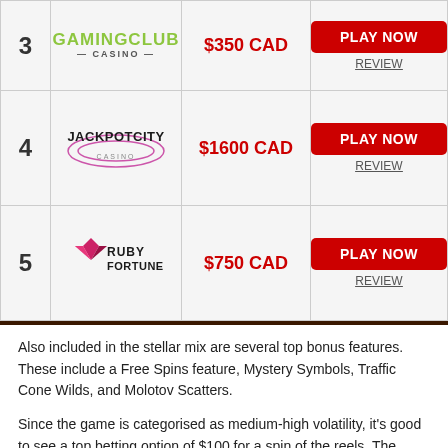| Rank | Casino | Bonus | Action |
| --- | --- | --- | --- |
| 3 | GamingClub Casino | $350 CAD | PLAY NOW / REVIEW |
| 4 | JackpotCity Casino | $1600 CAD | PLAY NOW / REVIEW |
| 5 | Ruby Fortune | $750 CAD | PLAY NOW / REVIEW |
Also included in the stellar mix are several top bonus features. These include a Free Spins feature, Mystery Symbols, Traffic Cone Wilds, and Molotov Scatters.
Since the game is categorised as medium-high volatility, it's good to see a top betting option of $100 for a spin of the reels. The minimum bet has been set at only $0.10 per spin, meaning the game is open to every size of budget.
While the Traffic Cone Wilds will do their bit for boosting the theme and